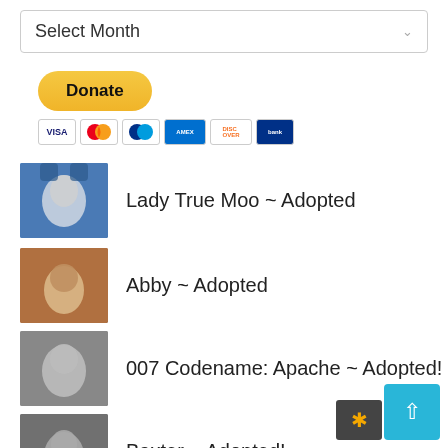Select Month
[Figure (other): PayPal Donate button with payment card icons (Visa, Mastercard, PayPal, Amex, Discover, other)]
Lady True Moo ~ Adopted
Abby ~ Adopted
007 Codename: Apache ~ Adopted!
Baxter ~ Adopted!
Forte ~ Adopted!